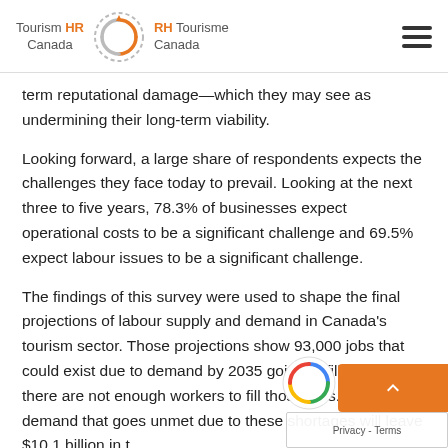Tourism HR Canada | RH Tourisme Canada
term reputational damage—which they may see as undermining their long-term viability.
Looking forward, a large share of respondents expects the challenges they face today to prevail. Looking at the next three to five years, 78.3% of businesses expect operational costs to be a significant challenge and 69.5% expect labour issues to be a significant challenge.
The findings of this survey were used to shape the final projections of labour supply and demand in Canada's tourism sector. Those projections show 93,000 jobs that could exist due to demand by 2035 going unfilled because there are not enough workers to fill those jobs. The demand that goes unmet due to these shortages will leave $10.1 billion in t…